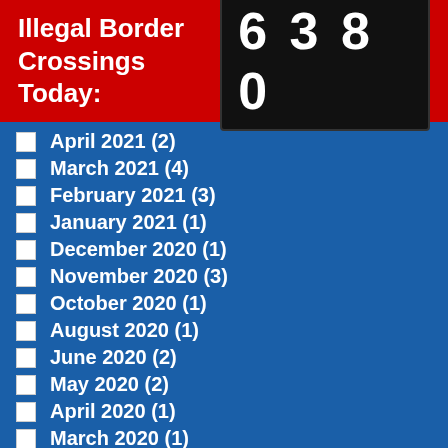[Figure (infographic): Red banner header showing 'Illegal Border Crossings Today:' with a digital counter displaying 6380]
April 2021 (2)
March 2021 (4)
February 2021 (3)
January 2021 (1)
December 2020 (1)
November 2020 (3)
October 2020 (1)
August 2020 (1)
June 2020 (2)
May 2020 (2)
April 2020 (1)
March 2020 (1)
January 2020 (3)
November 2021 (4)